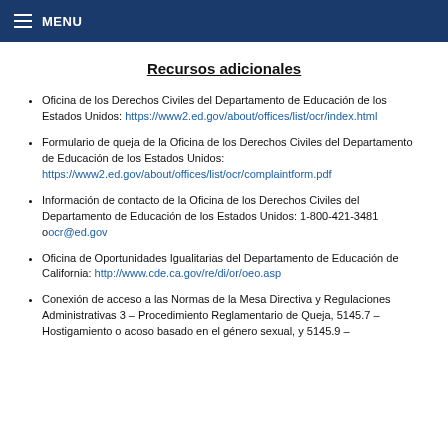MENU
Recursos adicionales
Oficina de los Derechos Civiles del Departamento de Educación de los Estados Unidos: https://www2.ed.gov/about/offices/list/ocr/index.html
Formulario de queja de la Oficina de los Derechos Civiles del Departamento de Educación de los Estados Unidos: https://www2.ed.gov/about/offices/list/ocr/complaintform.pdf
Información de contacto de la Oficina de los Derechos Civiles del Departamento de Educación de los Estados Unidos: 1-800-421-3481 o ocr@ed.gov
Oficina de Oportunidades Igualitarias del Departamento de Educación de California: http://www.cde.ca.gov/re/di/or/oeo.asp
Conexión de acceso a las Normas de la Mesa Directiva y Regulaciones Administrativas 3 – Procedimiento Reglamentario de Queja, 5145.7 – Hostigamiento o acoso basado en el género sexual, y 5145.9 –